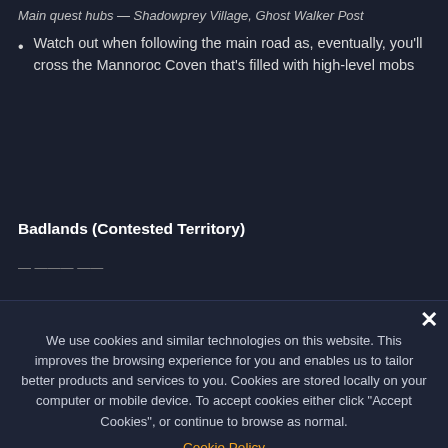Main quest hubs — Shadowprey Village, Ghost Walker Post
Watch out when following the main road as, eventually, you'll cross the Mannoroc Coven that's filled with high-level mobs
Badlands (Contested Territory)
We use cookies and similar technologies on this website. This improves the browsing experience for you and enables us to tailor better products and services to you. Cookies are stored locally on your computer or mobile device. To accept cookies either click "Accept Cookies", or continue to browse as normal.
Cookie Policy
✓ ACCEPT COOKIES
Cookie Settings and Details